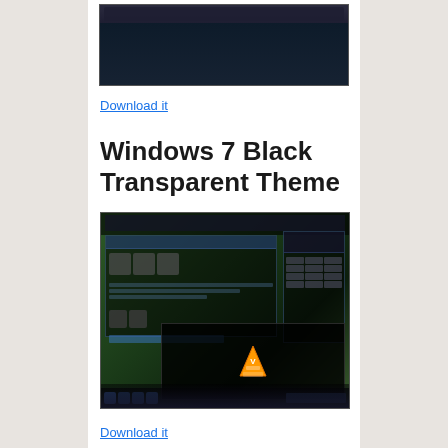[Figure (screenshot): Windows dark theme screenshot showing file explorer and start menu with dark blue styling]
Download it
Windows 7 Black Transparent Theme
[Figure (screenshot): Windows 7 Black Transparent Theme screenshot showing file explorer with hard drives, VLC media player, and calculator with dark transparent styling on green desktop]
Download it